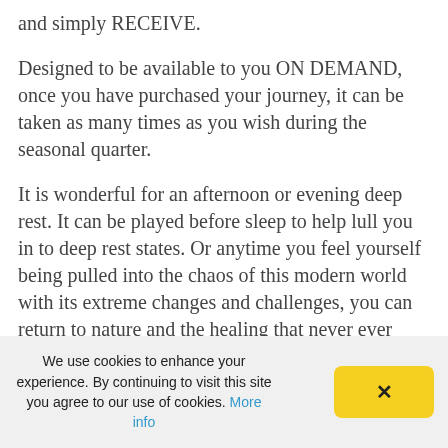and simply RECEIVE.
Designed to be available to you ON DEMAND, once you have purchased your journey, it can be taken as many times as you wish during the seasonal quarter.
It is wonderful for an afternoon or evening deep rest. It can be played before sleep to help lull you in to deep rest states. Or anytime you feel yourself being pulled into the chaos of this modern world with its extreme changes and challenges, you can return to nature and the healing that never ever runs out within its essence. It is always available to you, and so is
We use cookies to enhance your experience. By continuing to visit this site you agree to our use of cookies. More info